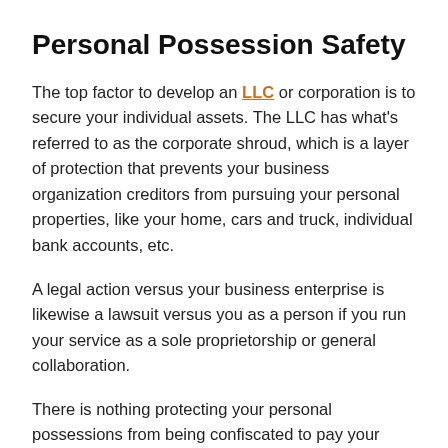Personal Possession Safety
The top factor to develop an LLC or corporation is to secure your individual assets. The LLC has what's referred to as the corporate shroud, which is a layer of protection that prevents your business organization creditors from pursuing your personal properties, like your home, cars and truck, individual bank accounts, etc.
A legal action versus your business enterprise is likewise a lawsuit versus you as a person if you run your service as a sole proprietorship or general collaboration.
There is nothing protecting your personal possessions from being confiscated to pay your